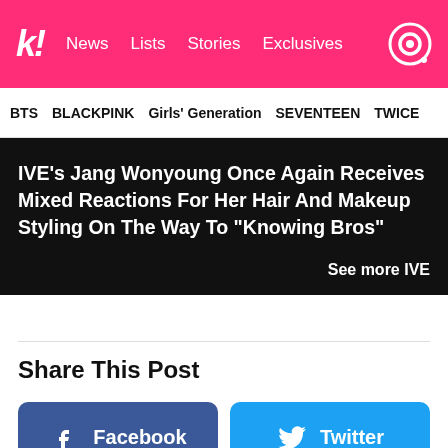K! News | Lists | Stories | Exclusives
BTS | BLACKPINK | Girls' Generation | SEVENTEEN | TWICE
IVE's Jang Wonyoung Once Again Receives Mixed Reactions For Her Hair And Makeup Styling On The Way To “Knowing Bros”
See more IVE
Share This Post
Facebook
Twitter